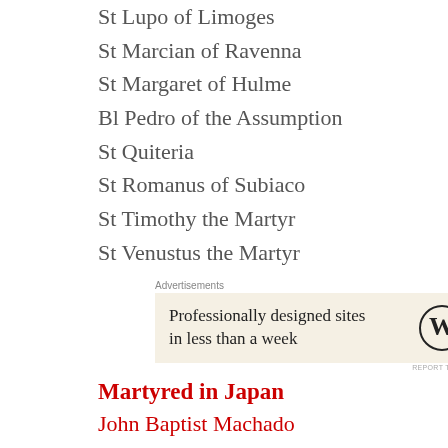St Lupo of Limoges
St Marcian of Ravenna
St Margaret of Hulme
Bl Pedro of the Assumption
St Quiteria
St Romanus of Subiaco
St Timothy the Martyr
St Venustus the Martyr
[Figure (other): WordPress advertisement box: 'Professionally designed sites in less than a week' with WordPress logo]
Martyred in Japan
John Baptist Machado
Matthias of Arima
Pedro of the Assumption